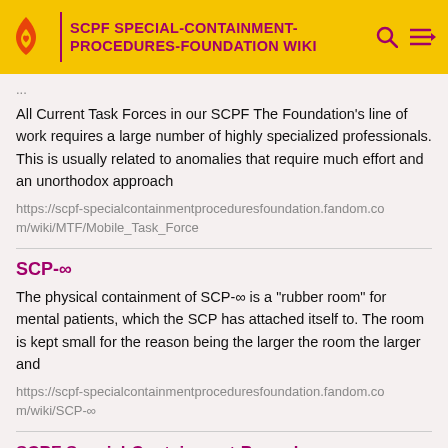SCPF SPECIAL-CONTAINMENT-PROCEDURES-FOUNDATION WIKI
All Current Task Forces in our SCPF The Foundation's line of work requires a large number of highly specialized professionals. This is usually related to anomalies that require much effort and an unorthodox approach
https://scpf-specialcontainmentproceduresfoundation.fandom.com/wiki/MTF/Mobile_Task_Force
SCP-∞
The physical containment of SCP-∞ is a "rubber room" for mental patients, which the SCP has attached itself to. The room is kept small for the reason being the larger the room the larger and
https://scpf-specialcontainmentproceduresfoundation.fandom.com/wiki/SCP-∞
SCPF Special-Containment-Procedures-Foundation Wiki